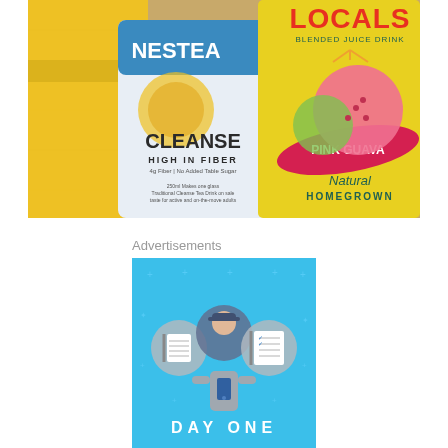[Figure (photo): Photo of two beverage packages on a wooden surface: a white Nestea Cleanse 'High in Fiber' packet on the left and a yellow Locals Blended Juice Drink Pink Guava packet on the right with an illustrated guava fruit.]
Advertisements
[Figure (illustration): Advertisement image with a light blue background featuring a person in a gray hoodie holding a phone with circular icons of a notebook on the left, a person with a cap in the center, and a checklist on the right. Text at the bottom reads 'DAY ONE'.]